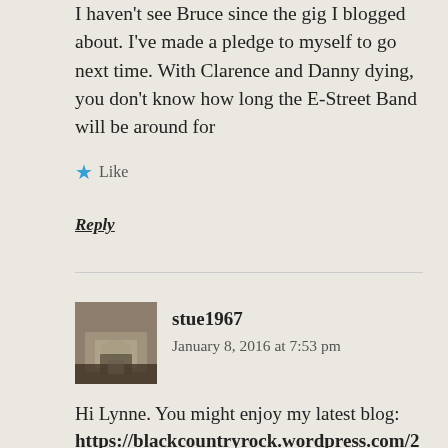I haven't see Bruce since the gig I blogged about. I've made a pledge to myself to go next time. With Clarence and Danny dying, you don't know how long the E-Street Band will be around for
★ Like
Reply
stue1967
January 8, 2016 at 7:53 pm
Hi Lynne. You might enjoy my latest blog: https://blackcountryrock.wordpress.com/2016/01/06/gary-u-s-bonds-after-the-river-with-bruce-springsteen/